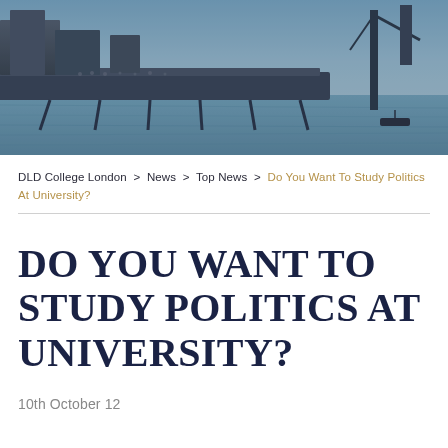[Figure (photo): Aerial photograph of a city waterfront/harbour area with buildings, a pier or jetty structure, and water. Taken from above showing urban infrastructure next to a river or harbor.]
DLD College London  >  News  >  Top News  >  Do You Want To Study Politics At University?
DO YOU WANT TO STUDY POLITICS AT UNIVERSITY?
10th October 12